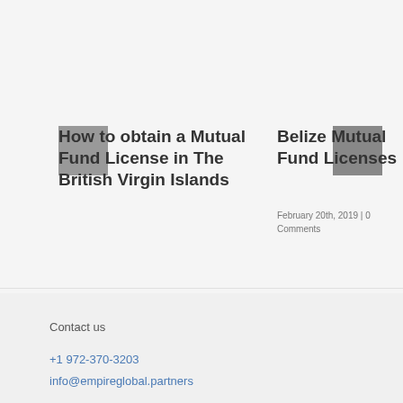How to obtain a Mutual Fund License in The British Virgin Islands
Belize Mutual Fund Licenses
February 20th, 2019 | 0 Comments
Contact us
+1 972-370-3203
info@empireglobal.partners